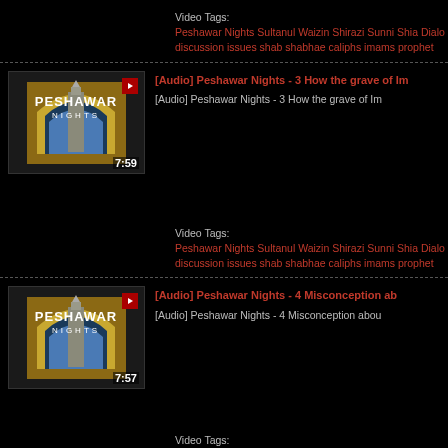Video Tags: Peshawar Nights Sultanul Waizin Shirazi Sunni Shia Dialo discussion issues shab shabhae caliphs imams prophet
[Figure (screenshot): Thumbnail for Peshawar Nights audio video showing mosque/minaret with title text, duration 7:59]
[Audio] Peshawar Nights - 3 How the grave of Im...
[Audio] Peshawar Nights - 3 How the grave of Im...
Video Tags: Peshawar Nights Sultanul Waizin Shirazi Sunni Shia Dialo discussion issues shab shabhae caliphs imams prophet
[Figure (screenshot): Thumbnail for Peshawar Nights audio video showing mosque/minaret with title text, duration 7:57]
[Audio] Peshawar Nights - 4 Misconception ab...
[Audio] Peshawar Nights - 4 Misconception abou...
Video Tags: Peshawar Nights Sultanul Waizin Shirazi Sunni Shia Dialo...